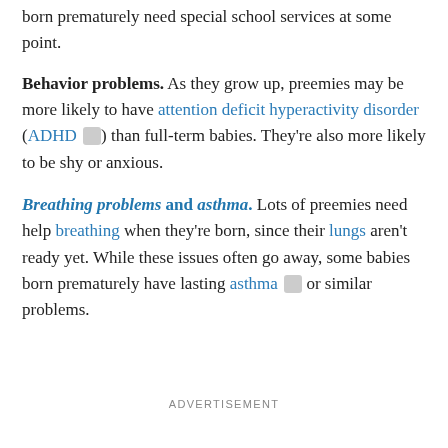born prematurely need special school services at some point.
Behavior problems. As they grow up, preemies may be more likely to have attention deficit hyperactivity disorder (ADHD) than full-term babies. They're also more likely to be shy or anxious.
Breathing problems and asthma. Lots of preemies need help breathing when they're born, since their lungs aren't ready yet. While these issues often go away, some babies born prematurely have lasting asthma or similar problems.
ADVERTISEMENT